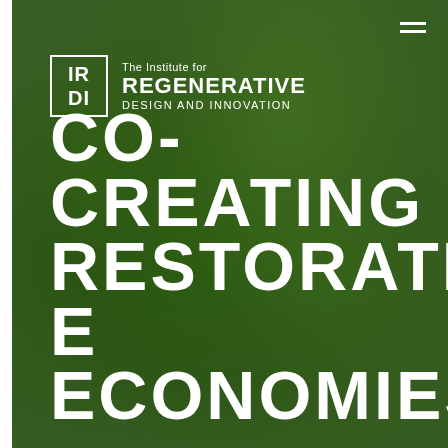[Figure (photo): Close-up photograph of green tropical leaves with dark green overlay, serving as background image for the page]
The Institute for REGENERATIVE DESIGN AND INNOVATION
CO-CREATING RESTORATIVE ECONOMIES